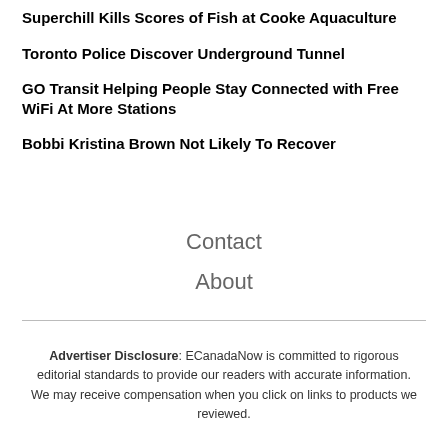Superchill Kills Scores of Fish at Cooke Aquaculture
Toronto Police Discover Underground Tunnel
GO Transit Helping People Stay Connected with Free WiFi At More Stations
Bobbi Kristina Brown Not Likely To Recover
Contact
About
Advertiser Disclosure: ECanadaNow is committed to rigorous editorial standards to provide our readers with accurate information. We may receive compensation when you click on links to products we reviewed.